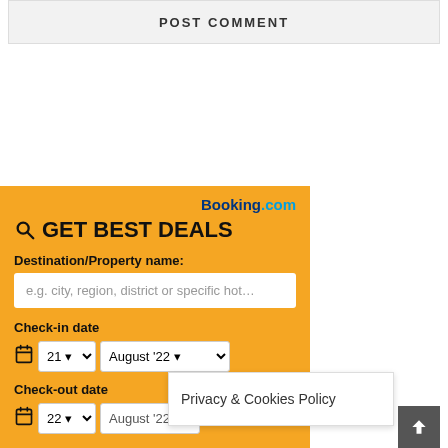POST COMMENT
[Figure (screenshot): Booking.com widget with GET BEST DEALS heading, destination input, check-in and check-out date selectors on an orange/yellow background]
Privacy & Cookies Policy